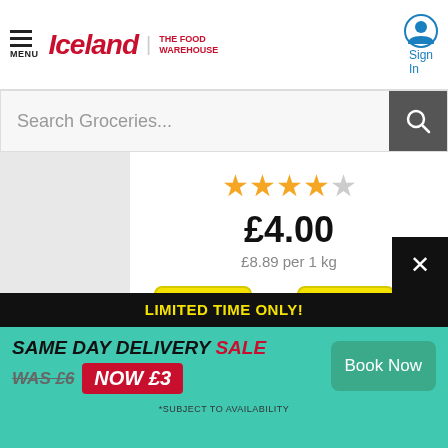Iceland | the food WAREHOUSE
Search Groceries...
★★★★☆
£4.00
£8.89 per 1 kg
ANY 2 £7 OR ANY 3 £9
Add to Basket
LIMITED TIME ONLY!
SAME DAY DELIVERY SALE WAS £6 NOW £3
*SUBJECT TO AVAILABILITY